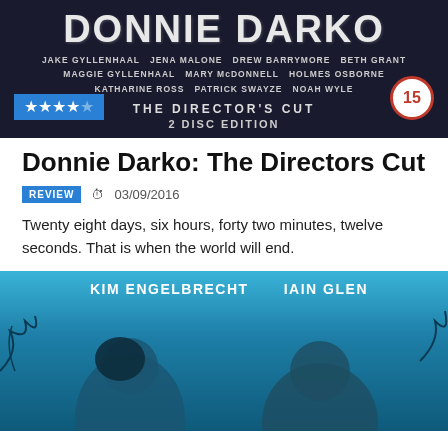[Figure (photo): Donnie Darko: The Director's Cut DVD cover showing the title in large dark letters, cast names including Jake Gyllenhaal, Jena Malone, Drew Barrymore, Beth Grant, Maggie Gyllenhaal, Mary McDonnell, Holmes Osborne, Katharine Ross, Patrick Swayze, Noah Wyle, labeled as The Director's Cut 2 Disc Edition, with a 15 certificate badge and 4-star rating overlay]
Donnie Darko: The Directors Cut
REVIEW  03/09/2016
Twenty eight days, six hours, forty two minutes, twelve seconds. That is when the world will end.
[Figure (photo): Movie or TV show promotional image showing Kim Engelbrecht and Iain Glen as named cast members against a blue atmospheric background with silhouetted figures partially visible at the bottom]